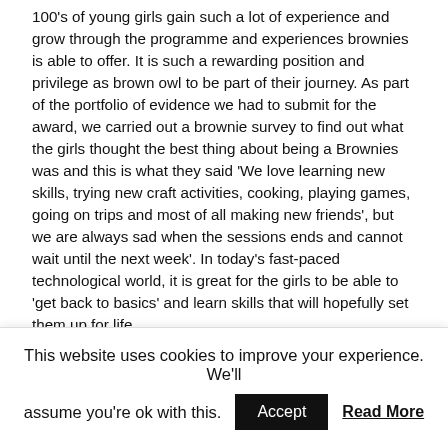100's of young girls gain such a lot of experience and grow through the programme and experiences brownies is able to offer. It is such a rewarding position and privilege as brown owl to be part of their journey. As part of the portfolio of evidence we had to submit for the award, we carried out a brownie survey to find out what the girls thought the best thing about being a Brownies was and this is what they said 'We love learning new skills, trying new craft activities, cooking, playing games, going on trips and most of all making new friends', but we are always sad when the sessions ends and cannot wait until the next week'. In today's fast-paced technological world, it is great for the girls to be able to 'get back to basics' and learn skills that will hopefully set them up for life. The programme of activities we put together, with the input from the girls is one, which enables the girls to build valuable life skills, self-esteem and confidence through fun and friendship both within the unit and at lager events. It is important for the girls to be involved in the programme planning, as it makes them feels part of the 'Team', practices their discussion skills and they enjoy the activities more. At 1st Wellington we offer the girls wide ranging prog...
This website uses cookies to improve your experience. We'll assume you're ok with this. Accept Read More